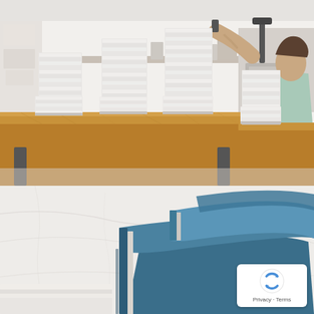[Figure (photo): Workshop scene: a woman with tattoos wearing a mint green t-shirt operates a binding machine on the right side. On a wooden worktable in the foreground are multiple tall stacks of white-covered notebooks or books. Background shows shelving with supplies and boxes in a bright, organized workspace.]
[Figure (photo): Close-up of blue fabric-covered notebooks or journals stacked and overlapping on a white marble surface. Bottom portion of image is partially cut off, showing additional items below. A reCAPTCHA badge overlay appears in the bottom-right corner with the reCAPTCHA logo and 'Privacy - Terms' text.]